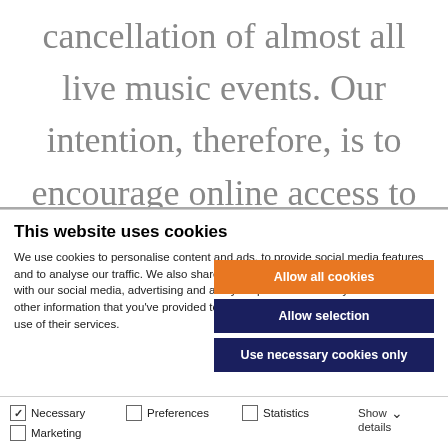cancellation of almost all live music events. Our intention, therefore, is to encourage online access to recorded performances via streaming and other
This website uses cookies
We use cookies to personalise content and ads, to provide social media features and to analyse our traffic. We also share information about your use of our site with our social media, advertising and analytics partners who may combine it with other information that you've provided to them or that they've collected from your use of their services.
Allow all cookies
Allow selection
Use necessary cookies only
Necessary  Preferences  Statistics  Marketing  Show details